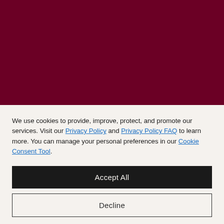[Figure (illustration): Dark maroon/burgundy colored banner image occupying the top portion of the page]
We use cookies to provide, improve, protect, and promote our services. Visit our Privacy Policy and Privacy Policy FAQ to learn more. You can manage your personal preferences in our Cookie Consent Tool.
Accept All
Decline